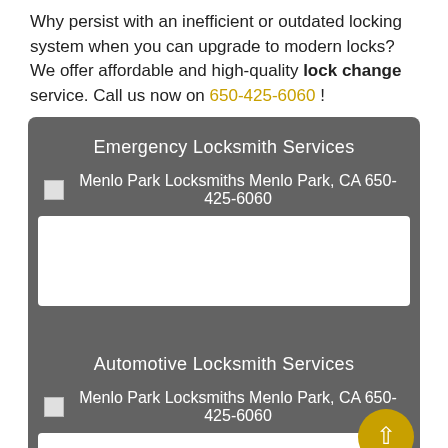Why persist with an inefficient or outdated locking system when you can upgrade to modern locks? We offer affordable and high-quality lock change service. Call us now on 650-425-6060 !
Emergency Locksmith Services
Menlo Park Locksmiths Menlo Park, CA 650-425-6060
[Figure (other): White image placeholder box]
Automotive Locksmith Services
Menlo Park Locksmiths Menlo Park, CA 650-425-6060
[Figure (other): White image placeholder box (partial)]